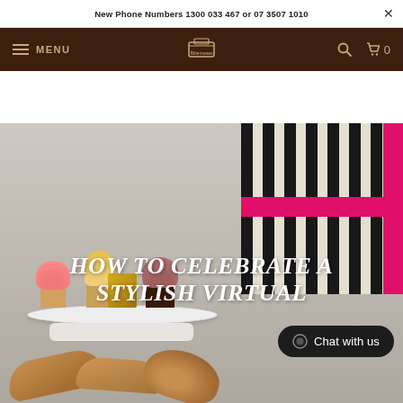New Phone Numbers 1300 033 467 or 07 3507 1010
MENU
[Figure (photo): Photo of assorted mini cakes and cupcakes on a white cake stand, with a striped black and white gift box with pink ribbon on the right, and pastries/breads in the foreground. Overlay text reads HOW TO CELEBRATE A STYLISH VIRTUAL with a Chat with us button.]
HOW TO CELEBRATE A STYLISH VIRTUAL